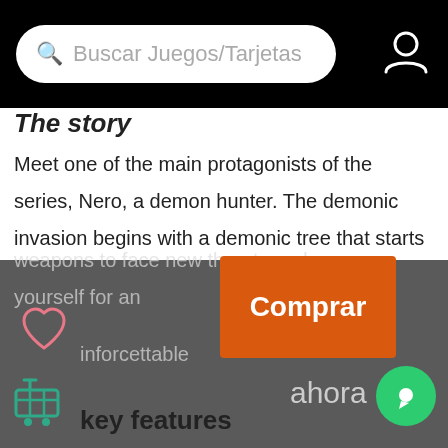Buscar Juegos/Tarjetas
The story
Meet one of the main protagonists of the series, Nero, a demon hunter. The demonic invasion begins with a demonic tree that starts growing in Red Grave City. This infernal raid attracts the attention of an ally of Dante, young Nero who is now without his demonic arm, the source of his power. Enter Red Grave City to face the final onslaught of demons. Equip new and classic weapons to face new threats and prepare yourself for an inforcettable experience.
[Figure (other): Orange 'Comprar' button overlay with 'ahora' text below and green chat bubble icon]
key features